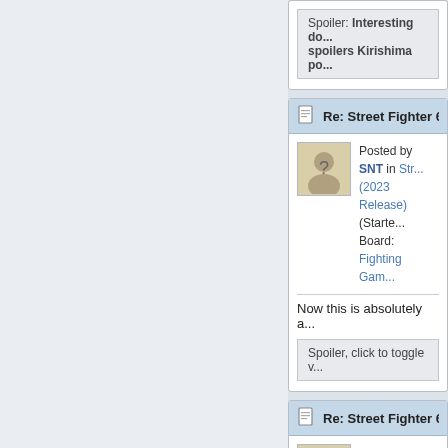Spoiler: Interesting do... spoilers Kirishima po...
Re: Street Fighter 6 (PS...
Posted by SNT in Str... (2023 Release) (Starte... Board: Fighting Gam...
Now this is absolutely a...
Spoiler, click to toggle v...
Re: Street Fighter 6 (PS...
Posted by SNT in Str... (2023 Release) (Starte...